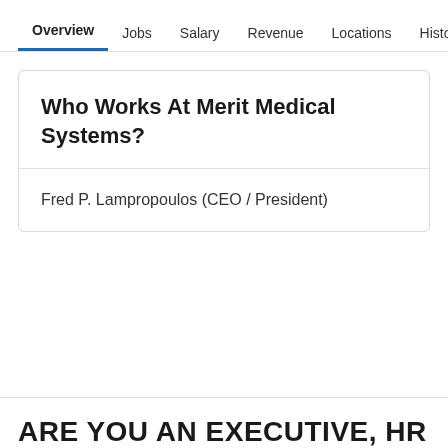Overview  Jobs  Salary  Revenue  Locations  Histo >
Who Works At Merit Medical Systems?
Fred P. Lampropoulos (CEO / President)
ARE YOU AN EXECUTIVE, HR